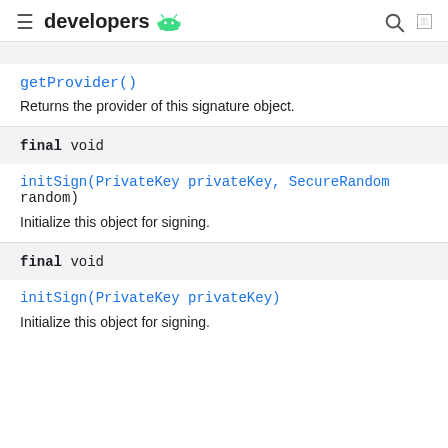developers
getProvider()
Returns the provider of this signature object.
final void
initSign(PrivateKey privateKey, SecureRandom random)
Initialize this object for signing.
final void
initSign(PrivateKey privateKey)
Initialize this object for signing.